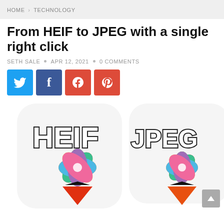HOME > TECHNOLOGY
From HEIF to JPEG with a single right click
SETH SALE • APR 12, 2021 • 0 COMMENTS
[Figure (other): Four social media share buttons: Twitter (blue), Facebook (dark blue), Google+ (red), Pinterest (red), each as square icons with white logos]
[Figure (photo): Two app icons side by side: left icon shows 'HEIF' text with colorful pinwheel logo and downward arrow on white rounded-square background; right icon shows 'JPEG' text with colorful pinwheel logo and downward arrow on white rounded-square background]